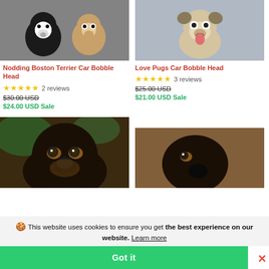[Figure (photo): Two dog bobblehead figurines (Boston Terrier style) on a gray textured surface]
[Figure (photo): White pug dog bobblehead figurine on gray background]
Nodding Boston Terrier Car Bobble Head
★★★★★ 2 reviews
$30.00 USD
$24.00 USD Sale
Love Pugs Car Bobble Head
★★★★★ 3 reviews
$25.00 USD
$21.00 USD Sale
[Figure (photo): Black and tan dog (Rottweiler/Dachshund) bobblehead close-up with greenery background]
[Figure (photo): Black and tan dog bobblehead on right side]
🍪 This website uses cookies to ensure you get the best experience on our website. Learn more
Got it